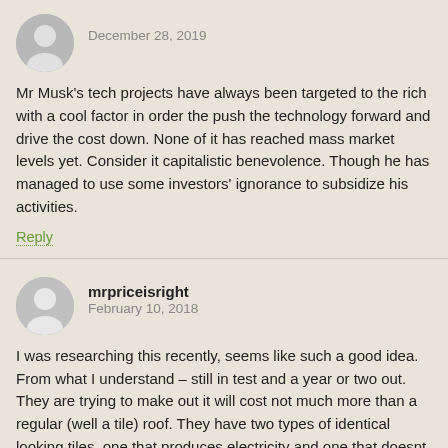December 28, 2019
Mr Musk's tech projects have always been targeted to the rich with a cool factor in order the push the technology forward and drive the cost down. None of it has reached mass market levels yet. Consider it capitalistic benevolence. Though he has managed to use some investors' ignorance to subsidize his activities.
Reply
mrpriceisright
February 10, 2018
I was researching this recently, seems like such a good idea. From what I understand – still in test and a year or two out. They are trying to make out it will cost not much more than a regular (well a tile) roof. They have two types of identical looking tiles, one that produces electricity and one that doesnt (thinking being that entire roof (particularly the N facing) will not be photo-voltaic). Cost per square depends on the mixture of the 2 tiles but it looked to me to be in the $50 –